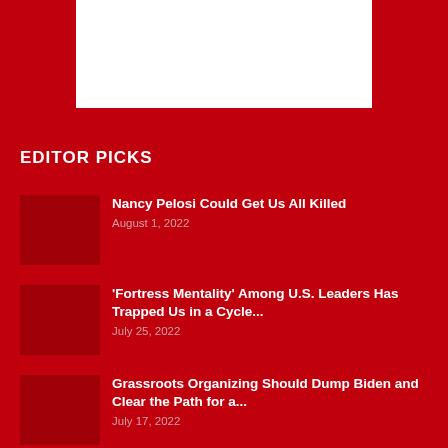[Figure (other): White rectangle image placeholder on red background]
EDITOR PICKS
Nancy Pelosi Could Get Us All Killed
August 1, 2022
'Fortress Mentality' Among U.S. Leaders Has Trapped Us in a Cycle...
July 25, 2022
Grassroots Organizing Should Dump Biden and Clear the Path for a...
July 17, 2022